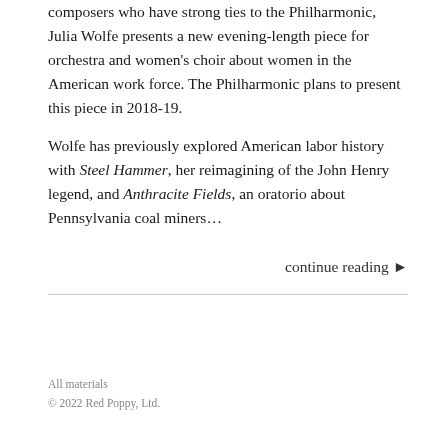composers who have strong ties to the Philharmonic, Julia Wolfe presents a new evening-length piece for orchestra and women's choir about women in the American work force. The Philharmonic plans to present this piece in 2018-19.
Wolfe has previously explored American labor history with Steel Hammer, her reimagining of the John Henry legend, and Anthracite Fields, an oratorio about Pennsylvania coal miners…
continue reading ▶
All materials
© 2022 Red Poppy, Ltd.